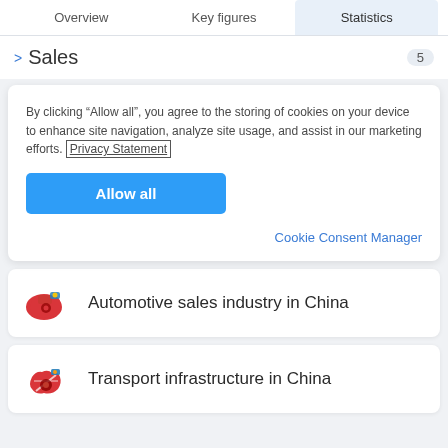Overview | Key figures | Statistics
> Sales  5
By clicking “Allow all”, you agree to the storing of cookies on your device to enhance site navigation, analyze site usage, and assist in our marketing efforts. Privacy Statement
Allow all
Cookie Consent Manager
Automotive sales industry in China
Transport infrastructure in China